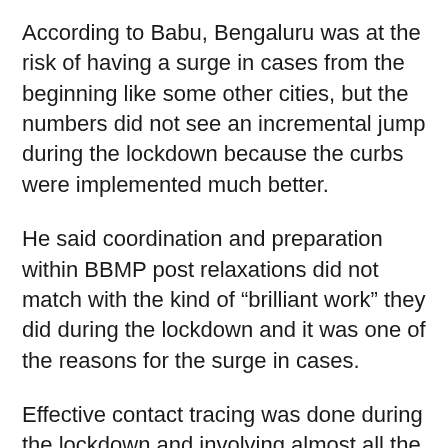According to Babu, Bengaluru was at the risk of having a surge in cases from the beginning like some other cities, but the numbers did not see an incremental jump during the lockdown because the curbs were implemented much better.
He said coordination and preparation within BBMP post relaxations did not match with the kind of “brilliant work” they did during the lockdown and it was one of the reasons for the surge in cases.
Effective contact tracing was done during the lockdown and involving almost all the staff members, but once the lockdown was lifted they resumed with their earlier duties, and this led to a shortage of manpower for contact tracing.